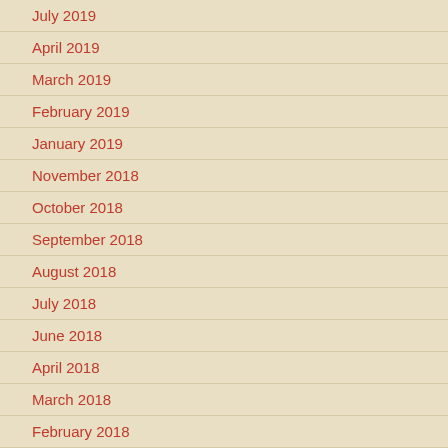July 2019
April 2019
March 2019
February 2019
January 2019
November 2018
October 2018
September 2018
August 2018
July 2018
June 2018
April 2018
March 2018
February 2018
January 2018